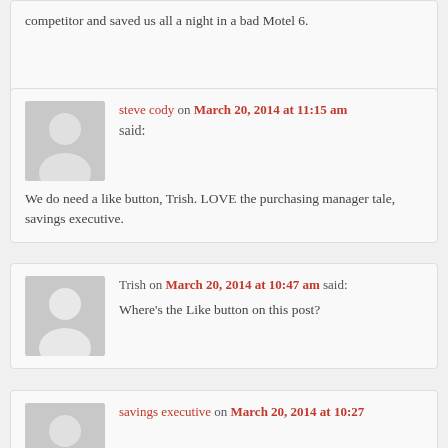competitor and saved us all a night in a bad Motel 6.
steve cody on March 20, 2014 at 11:15 am said: We do need a like button, Trish. LOVE the purchasing manager tale, savings executive.
Trish on March 20, 2014 at 10:47 am said: Where's the Like button on this post?
savings executive on March 20, 2014 at 10:27